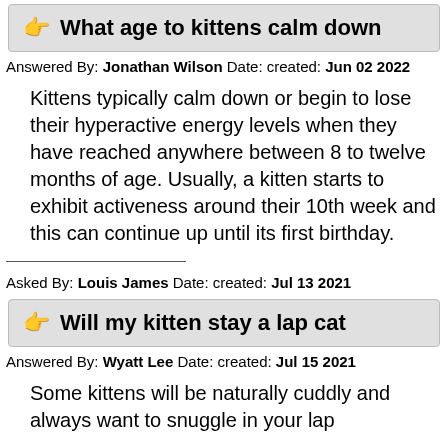What age to kittens calm down
Answered By: Jonathan Wilson Date: created: Jun 02 2022
Kittens typically calm down or begin to lose their hyperactive energy levels when they have reached anywhere between 8 to twelve months of age. Usually, a kitten starts to exhibit activeness around their 10th week and this can continue up until its first birthday.
Asked By: Louis James Date: created: Jul 13 2021
Will my kitten stay a lap cat
Answered By: Wyatt Lee Date: created: Jul 15 2021
Some kittens will be naturally cuddly and always want to snuggle in your lap